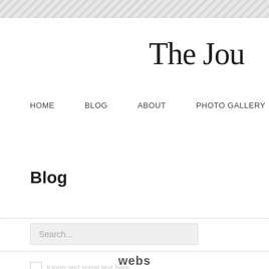The Jour
HOME   BLOG   ABOUT   PHOTO GALLERY   CONTACT
Blog
Search...
webs